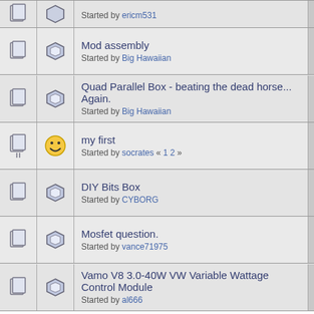Started by ericm531
Mod assembly – Started by Big Hawaiian
Quad Parallel Box - beating the dead horse... Again. – Started by Big Hawaiian
my first – Started by socrates « 1 2 »
DIY Bits Box – Started by CYBORG
Mosfet question. – Started by vance71975
Vamo V8 3.0-40W VW Variable Wattage Control Module – Started by al666
Pages: [1] 2 3 4 5 6 7  Go Up
The Vapers Den Electronic E-Cigarette Vaping Forum » The Modders Den » Modding &
Normal Topic   Locked Topic